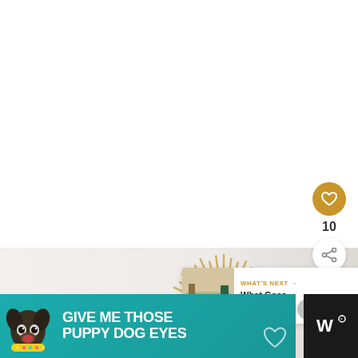[Figure (photo): Screenshot of a home decor website showing a sunburst/starburst decorative mirror with golden/wheat colored rays on a white wall background. The page has UI overlays including a like button with heart icon showing count 10, a share button, a 'What's Next' recommendation card showing 'What Goes With A Blue...' text with a thumbnail, and an advertisement banner at the bottom reading 'GIVE ME THOSE PUPPY DOG EYES' with a dog image on a teal/turquoise background.]